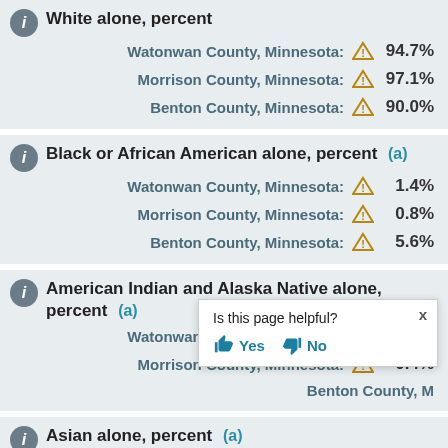White alone, percent
Watonwan County, Minnesota: 94.7%
Morrison County, Minnesota: 97.1%
Benton County, Minnesota: 90.0%
Black or African American alone, percent (a)
Watonwan County, Minnesota: 1.4%
Morrison County, Minnesota: 0.8%
Benton County, Minnesota: 5.6%
American Indian and Alaska Native alone, percent (a)
Watonwan County, Minnesota: 1.4%
Morrison County, Minnesota: 0.4%
Benton County, Minnesota: [partially obscured]
Is this page helpful? Yes No
Asian alone, percent (a)